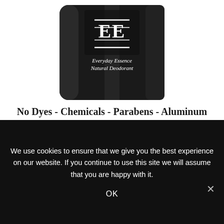[Figure (photo): Dark jar of Everyday Essence Natural Deodorant with a stylized EE logo on front label, white text on dark background]
No Dyes - Chemicals - Parabens - Aluminum
Detox daily, with added clay and charcoal to help flush toxins and upgrade your system
Read More
[Figure (photo): Background image of a person with a red 'SPECIAL' tag banner in upper right, dark moody lighting]
We use cookies to ensure that we give you the best experience on our website. If you continue to use this site we will assume that you are happy with it.
OK